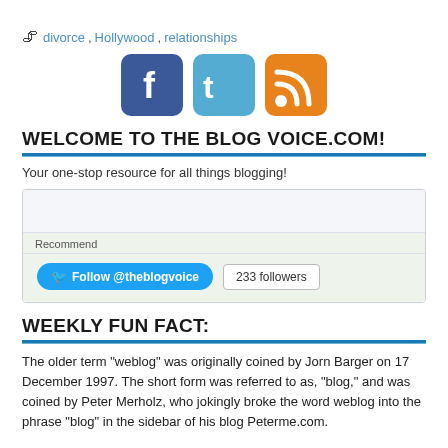🖇 divorce, Hollywood, relationships
[Figure (illustration): Three social media icons: Facebook (blue), Twitter (cyan), RSS (orange)]
WELCOME TO THE BLOG VOICE.COM!
Your one-stop resource for all things blogging!
[Figure (screenshot): Social widget box with a Facebook Recommend section and a Twitter Follow @theblogvoice button with 233 followers badge]
WEEKLY FUN FACT:
The older term "weblog" was originally coined by Jorn Barger on 17 December 1997. The short form was referred to as, "blog," and was coined by Peter Merholz, who jokingly broke the word weblog into the phrase "blog" in the sidebar of his blog Peterme.com.